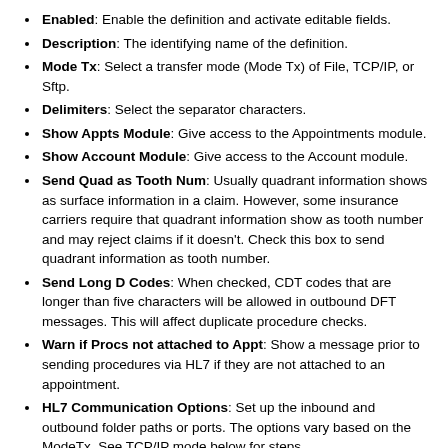Enabled: Enable the definition and activate editable fields.
Description: The identifying name of the definition.
Mode Tx: Select a transfer mode (Mode Tx) of File, TCP/IP, or Sftp.
Delimiters: Select the separator characters.
Show Appts Module: Give access to the Appointments module.
Show Account Module: Give access to the Account module.
Send Quad as Tooth Num: Usually quadrant information shows as surface information in a claim. However, some insurance carriers require that quadrant information show as tooth number and may reject claims if it doesn't. Check this box to send quadrant information as tooth number.
Send Long D Codes: When checked, CDT codes that are longer than five characters will be allowed in outbound DFT messages. This will affect duplicate procedure checks.
Warn if Procs not attached to Appt: Show a message prior to sending procedures via HL7 if they are not attached to an appointment.
HL7 Communication Options: Set up the inbound and outbound folder paths or ports. The options vary based on the ModeTx. See TCP/IP mode below for steps.
OpenDental HL7 server and service name: See HL7 Service Manager for information about installing and naming the OpenDentalHL7 service.
Show Demographics: Typically patient demographic information is not entered in Open Dental because it may be overwritten every time an inbound HL7 message for the patient is processed. If users want to be able to change and add demographic...